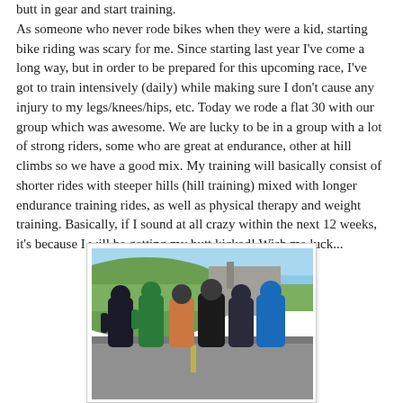butt in gear and start training. As someone who never rode bikes when they were a kid, starting bike riding was scary for me. Since starting last year I've come a long way, but in order to be prepared for this upcoming race, I've got to train intensively (daily) while making sure I don't cause any injury to my legs/knees/hips, etc. Today we rode a flat 30 with our group which was awesome. We are lucky to be in a group with a lot of strong riders, some who are great at endurance, other at hill climbs so we have a good mix. My training will basically consist of shorter rides with steeper hills (hill training) mixed with longer endurance training rides, as well as physical therapy and weight training. Basically, if I sound at all crazy within the next 12 weeks, it's because I will be getting my butt kicked! Wish me luck...
[Figure (photo): Group photo of six cyclists wearing helmets and cycling gear, standing together on a road with a grassy hill and blue sky in the background.]